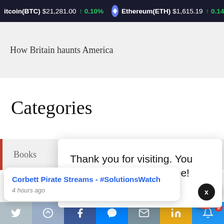Bitcoin(BTC) $21,281.00 ↑ 0.10%   Ethereum(ETH) $1,615.19 ↑ 0.14
How Britain haunts America
Categories
Books
Culture
Documentaries
Thank you for visiting. You can now buy me a coffee!
Corbett Pirate Streams - #SolutionsWatch
4 hours ago